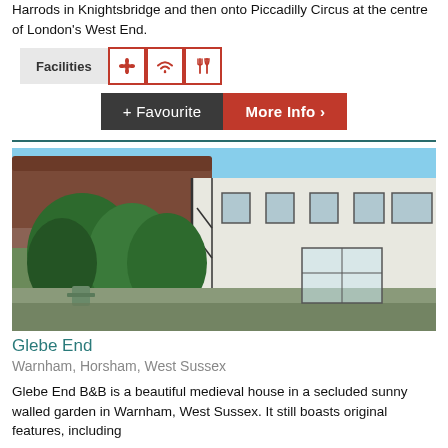Harrods in Knightsbridge and then onto Piccadilly Circus at the centre of London's West End.
[Figure (infographic): Facilities row with label and icons for garden, wifi, and dining]
[Figure (infographic): Buttons: + Favourite and More Info >]
[Figure (photo): Photo of Glebe End, a medieval house with thatched roof, white walls, timber framing and garden greenery]
Glebe End
Warnham, Horsham, West Sussex
Glebe End B&B is a beautiful medieval house in a secluded sunny walled garden in Warnham, West Sussex. It still boasts original features, including